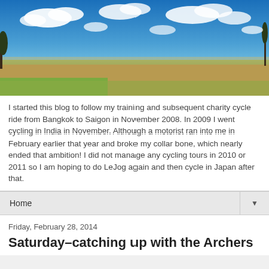[Figure (photo): Panoramic landscape photo showing a wide open field with green and brown grass under a vivid blue sky with white clouds. HDR-style photography.]
I started this blog to follow my training and subsequent charity cycle ride from Bangkok to Saigon in November 2008. In 2009 I went cycling in India in November. Although a motorist ran into me in February earlier that year and broke my collar bone, which nearly ended that ambition! I did not manage any cycling tours in 2010 or 2011 so I am hoping to do LeJog again and then cycle in Japan after that.
Home
Friday, February 28, 2014
Saturday–catching up with the Archers